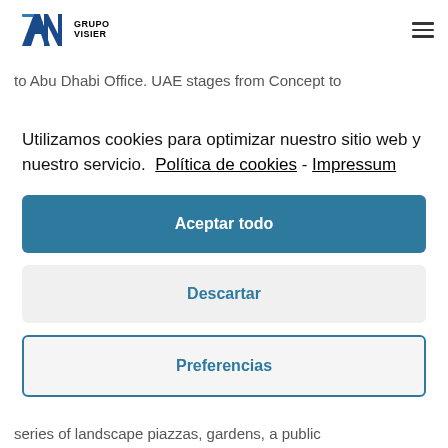[Figure (logo): AL Grupo Visier logo with stylized A and N letterforms in blue/dark, with text GRUPO VISIER to the right]
to Abu Dhabi Office. UAE stages from Concept to
Utilizamos cookies para optimizar nuestro sitio web y nuestro servicio.  Política de cookies - Impressum
Aceptar todo
Descartar
Preferencias
series of landscape piazzas, gardens, a public